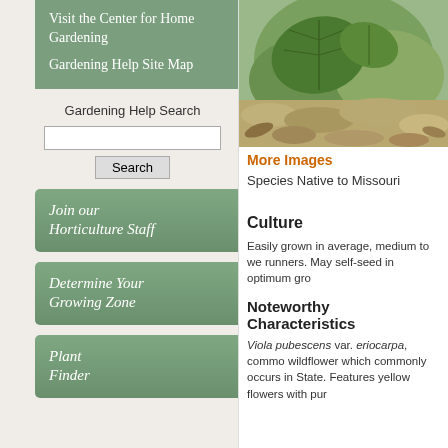Visit the Center for Home Gardening
Gardening Help Site Map
Gardening Help Search
[Figure (photo): Close-up photo of a green plant (likely Viola pubescens) growing among rocks and dead leaves on the ground]
More Images
Species Native to Missouri
Join our Horticulture Staff
Determine Your Growing Zone
Plant Finder
Culture
Easily grown in average, medium to we runners. May self-seed in optimum gro
Noteworthy Characteristics
Viola pubescens var. eriocarpa, commo wildflower which commonly occurs in State. Features yellow flowers with pur